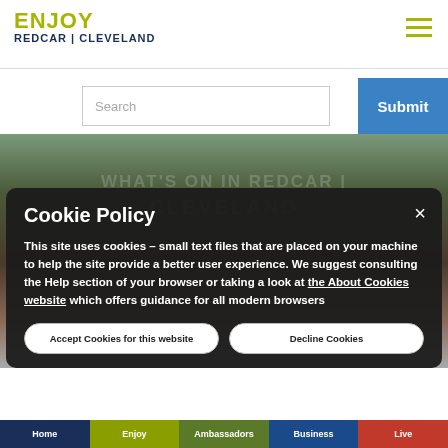ENJOY REDCAR | CLEVELAND
Search
Submit
[Figure (photo): Background photo of a historic brick arch building with overlay text 'WHAT'S ON IN REDCAR | CLEVELAND']
Cookie Policy
This site uses cookies – small text files that are placed on your machine to help the site provide a better user experience. We suggest consulting the Help section of your browser or taking a look at the About Cookies website which offers guidance for all modern browsers
Accept Cookies for this website
Decline Cookies
Home  Enjoy  Ambassadors  Business  Live